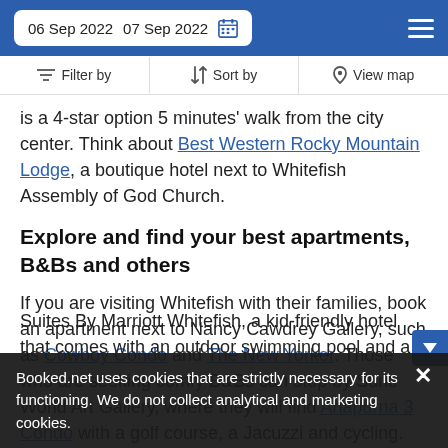06 Sep 2022  07 Sep 2022
Filter by  Sort by  View map
is a 4-star option 5 minutes' walk from the city center. Think about Best Western Rocky Mountain Lodge, a boutique hotel next to Whitefish Assembly of God Church.
Explore and find your best apartments, B&Bs and others
If you are visiting Whitefish with their families, book an apartment next to Nancy Cawdrey Gallery, such as Cowboy Condo and The New Yorker. Those who are seeking comfy B&Bs can stop by Sunti World Art Gallery, where they will find Anapurna 3 Condo with a golf course, a Jacuzzi and cycling. For a family vacation, check out Towneplace Suites By Marriott Whitefish, a kid-friendly hotel that comes with an outdoor swimming pool and a
Booked.net uses cookies that are strictly necessary for its functioning. We do not collect analytical and marketing cookies.